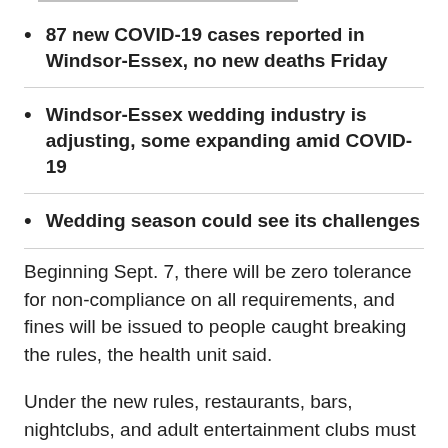87 new COVID-19 cases reported in Windsor-Essex, no new deaths Friday
Windsor-Essex wedding industry is adjusting, some expanding amid COVID-19
Wedding season could see its challenges
Beginning Sept. 7, there will be zero tolerance for non-compliance on all requirements, and fines will be issued to people caught breaking the rules, the health unit said.
Under the new rules, restaurants, bars, nightclubs, and adult entertainment clubs must close by midnight.
“If 95 per cent of your income or your revenue